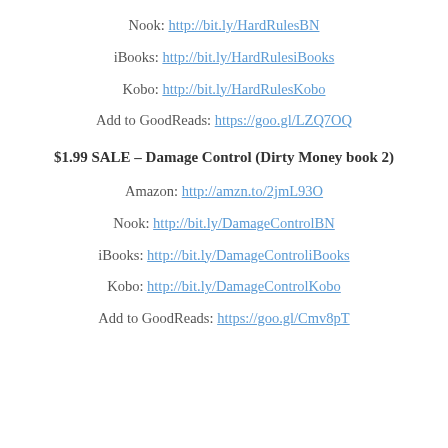Nook: http://bit.ly/HardRulesBN
iBooks: http://bit.ly/HardRulesiBooks
Kobo: http://bit.ly/HardRulesKobo
Add to GoodReads: https://goo.gl/LZQ7OQ
$1.99 SALE – Damage Control (Dirty Money book 2)
Amazon: http://amzn.to/2jmL93O
Nook: http://bit.ly/DamageControlBN
iBooks: http://bit.ly/DamageControliBooks
Kobo: http://bit.ly/DamageControlKobo
Add to GoodReads: https://goo.gl/Cmv8pT